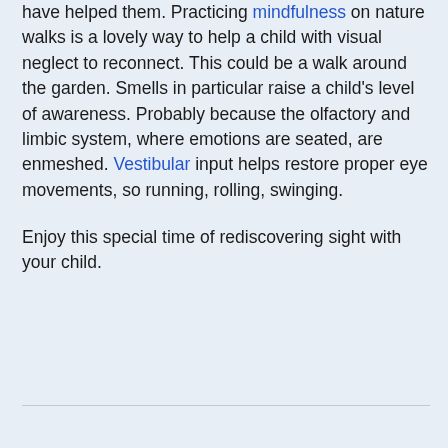have helped them. Practicing mindfulness on nature walks is a lovely way to help a child with visual neglect to reconnect. This could be a walk around the garden. Smells in particular raise a child's level of awareness. Probably because the olfactory and limbic system, where emotions are seated, are enmeshed. Vestibular input helps restore proper eye movements, so running, rolling, swinging.
Enjoy this special time of rediscovering sight with your child.